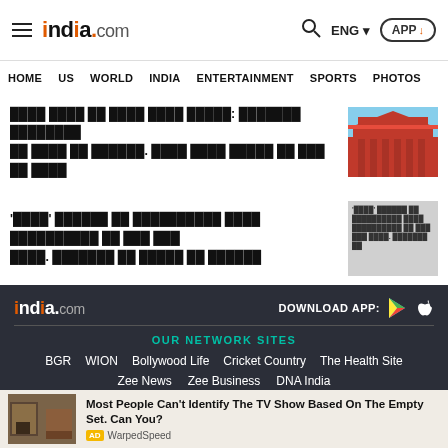india.com — HOME | US | WORLD | INDIA | ENTERTAINMENT | SPORTS | PHOTOS
[Hindi text - news headline 1]
[Figure (photo): Red building with columns (Karnataka High Court or similar building)]
[Hindi text - news headline 2 starting with 'Rail']
[Figure (screenshot): Grey placeholder image with Hindi text overlay]
DOWNLOAD APP:
india.com footer logo
OUR NETWORK SITES
BGR
WION
Bollywood Life
Cricket Country
The Health Site
Zee News
Zee Business
DNA India
Most People Can't Identify The TV Show Based On The Empty Set. Can You?
AD WarpedSpeed